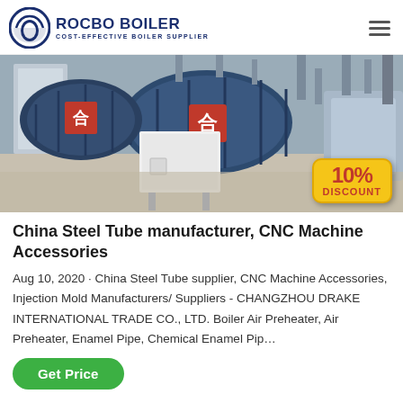[Figure (logo): Rocbo Boiler logo with circular icon and text 'ROCBO BOILER, COST-EFFECTIVE BOILER SUPPLIER']
[Figure (photo): Industrial boiler room with large cylindrical gas-fired boilers, pipes, and equipment. A '10% DISCOUNT' badge overlaid in the bottom right corner.]
China Steel Tube manufacturer, CNC Machine Accessories
Aug 10, 2020 · China Steel Tube supplier, CNC Machine Accessories, Injection Mold Manufacturers/ Suppliers - CHANGZHOU DRAKE INTERNATIONAL TRADE CO., LTD. Boiler Air Preheater, Air Preheater, Enamel Pipe, Chemical Enamel Pip…